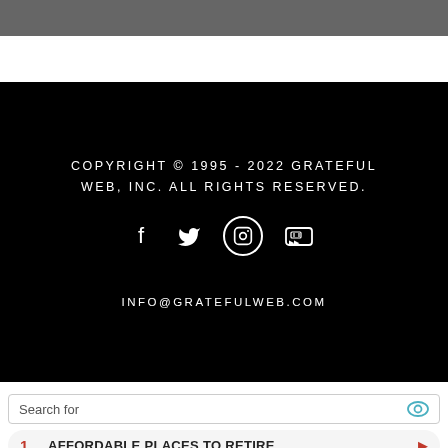COPYRIGHT © 1995 - 2022 GRATEFUL WEB, INC. ALL RIGHTS RESERVED.
[Figure (other): Social media icons: Facebook, Twitter, Instagram (circled), YouTube]
INFO@GRATEFULWEB.COM
Search for
1  AFFORDABLE PLACES TO RETIRE
2  BEST WAYS TO INVEST IN GOLD
Ad | Business Focus